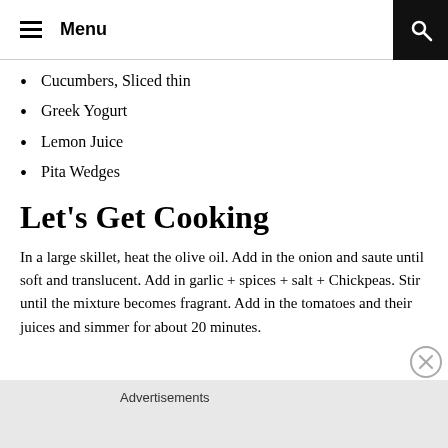Menu
Cucumbers, Sliced thin
Greek Yogurt
Lemon Juice
Pita Wedges
Let's Get Cooking
In a large skillet, heat the olive oil. Add in the onion and saute until soft and translucent. Add in garlic + spices + salt + Chickpeas. Stir until the mixture becomes fragrant. Add in the tomatoes and their juices and simmer for about 20 minutes.
Advertisements